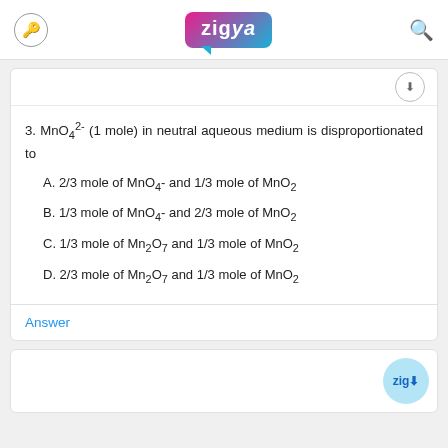Zigya (logo header with search icon)
3. MnO42- (1 mole) in neutral aqueous medium is disproportionated to
A. 2/3 mole of MnO4- and 1/3 mole of MnO2
B. 1/3 mole of MnO4- and 2/3 mole of MnO2
C. 1/3 mole of Mn2O7 and 1/3 mole of MnO2
D. 2/3 mole of Mn2O7 and 1/3 mole of MnO2
Answer